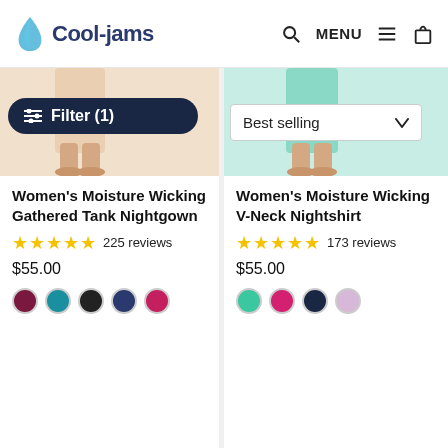Cool-jams
[Figure (screenshot): Product image for Women's Moisture Wicking Gathered Tank Nightgown, showing partial torso and feet]
[Figure (screenshot): Product image for Women's Moisture Wicking V-Neck Nightshirt, showing partial torso and feet]
Filter (1)
Best selling
Women's Moisture Wicking Gathered Tank Nightgown
★★★★★ 225 reviews
$55.00
Women's Moisture Wicking V-Neck Nightshirt
★★★★★ 173 reviews
$55.00